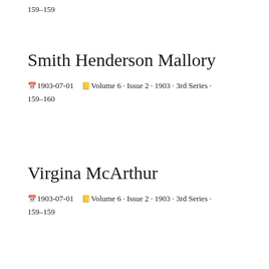159–159
Smith Henderson Mallory
🗓 1903-07-01   📋 Volume 6 · Issue 2 · 1903 · 3rd Series · 159–160
Virgina McArthur
🗓 1903-07-01   📋 Volume 6 · Issue 2 · 1903 · 3rd Series · 159–159